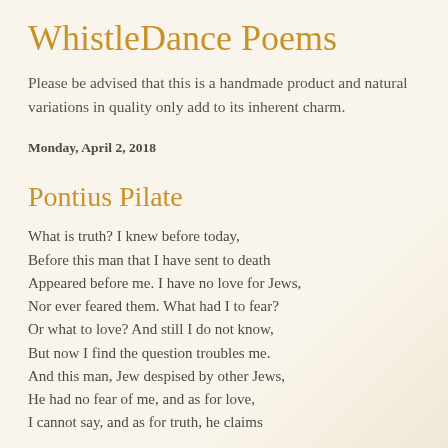WhistleDance Poems
Please be advised that this is a handmade product and natural variations in quality only add to its inherent charm.
Monday, April 2, 2018
Pontius Pilate
What is truth? I knew before today,
Before this man that I have sent to death
Appeared before me. I have no love for Jews,
Nor ever feared them. What had I to fear?
Or what to love? And still I do not know,
But now I find the question troubles me.
And this man, Jew despised by other Jews,
He had no fear of me, and as for love,
I cannot say, and as for truth, he claims
I cannot think to fear, and as he claims